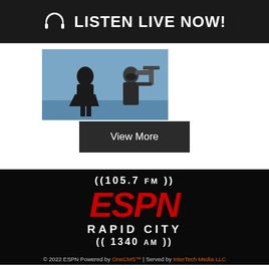LISTEN LIVE NOW!
[Figure (photo): Photo of a person in black outfit with a camera operator holding a camera stabilizer rig, appears to be at a sports event with blue background]
View More
[Figure (logo): ESPN Rapid City radio station logo: ((105.7 FM)) ESPN RAPID CITY ((1340 AM)) on black background, ESPN in large red italic text]
© 2022 ESPN Powered by OneCMS™ | Served by InterTech Media LLC